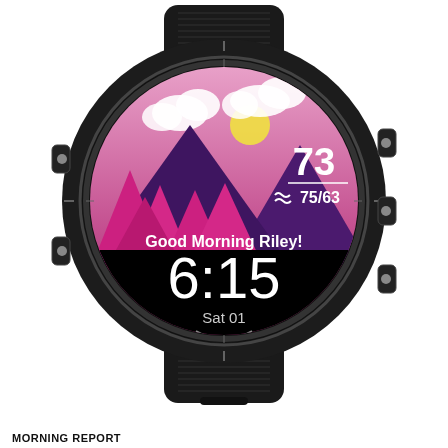[Figure (photo): A Garmin Forerunner GPS smartwatch with a black silicone band. The watch face displays a colorful morning scene with pink/magenta mountains, purple mountains, clouds, and a yellow sun. The watch face shows: temperature 73, wind icon, 75/63, text 'Good Morning Riley!', time 6:15, date Sat 01, and the GARMIN logo at the bottom of the bezel.]
MORNING REPORT